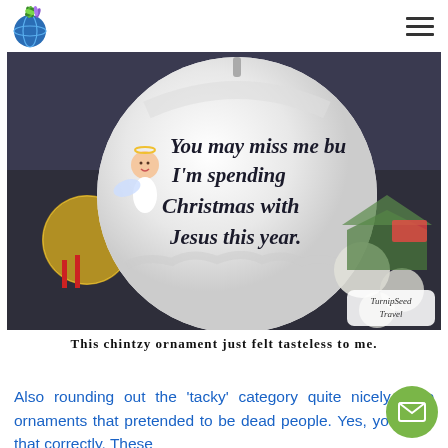TurnipSeed Travel logo and navigation menu
[Figure (photo): A white Christmas ornament ball with a hand-drawn cartoon angel and text reading 'You may miss me but I'm spending Christmas with Jesus this year', displayed in a shop setting with other ornaments in the background. A TurnipSeed Travel watermark is visible in the lower right.]
This chintzy ornament just felt tasteless to me.
Also rounding out the 'tacky' category quite nicely were ornaments that pretended to be dead people. Yes, you read that correctly. These